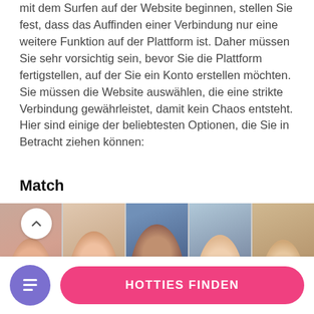mit dem Surfen auf der Website beginnen, stellen Sie fest, dass das Auffinden einer Verbindung nur eine weitere Funktion auf der Plattform ist. Daher müssen Sie sehr vorsichtig sein, bevor Sie die Plattform fertigstellen, auf der Sie ein Konto erstellen möchten. Sie müssen die Website auswählen, die eine strikte Verbindung gewährleistet, damit kein Chaos entsteht. Hier sind einige der beliebtesten Optionen, die Sie in Betracht ziehen können:
Match
[Figure (screenshot): Screenshot of Match.com dating website showing a collage of profile photos with a 13% badge in the lower-left corner and the match logo overlay at the bottom center.]
[Figure (infographic): Bottom navigation bar with a purple circular icon button on the left and a pink rounded 'HOTTIES FINDEN' button on the right.]